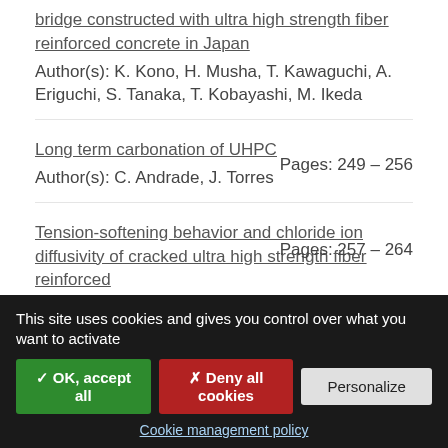bridge constructed with ultra high strength fiber reinforced concrete in Japan
Author(s): K. Kono, H. Musha, T. Kawaguchi, A. Eriguchi, S. Tanaka, T. Kobayashi, M. Ikeda
Long term carbonation of UHPC
Author(s): C. Andrade, J. Torres
Pages: 249 – 256
Tension-softening behavior and chloride ion diffusivity of cracked ultra high strength fiber reinforced
Pages: 257 – 264
This site uses cookies and gives you control over what you want to activate
✓ OK, accept all
✗ Deny all cookies
Personalize
Cookie management policy